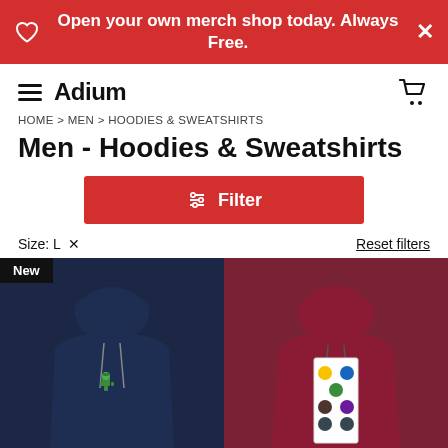Open your own merch shop today. Always Free.
Adium
HOME > MEN > HOODIES & SWEATSHIRTS
Men - Hoodies & Sweatshirts
Filter
Size: L  X    Reset filters
[Figure (photo): Navy blue hoodie with small green pixel character graphic, labeled New]
[Figure (photo): Maroon/burgundy hoodie with colorful pixel characters graphic on front]